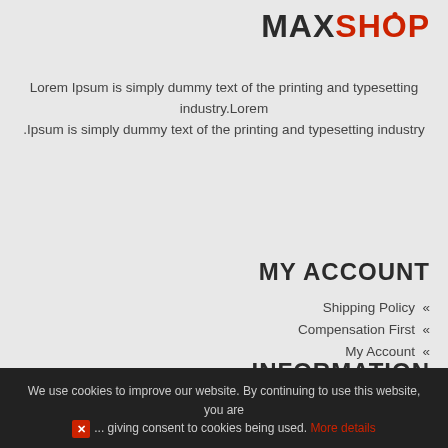[Figure (logo): MAXSHOP logo with MAX in dark/black and SHOP in red, with a dot above the O]
Lorem Ipsum is simply dummy text of the printing and typesetting industry.Lorem .Ipsum is simply dummy text of the printing and typesetting industry
MY ACCOUNT
Shipping Policy «
Compensation First «
My Account «
Return Policy «
Contact Us «
INFORMATION
About Us «
Privacy Policy «
Terms Of Use «
We use cookies to improve our website. By continuing to use this website, you are giving consent to cookies being used. More details